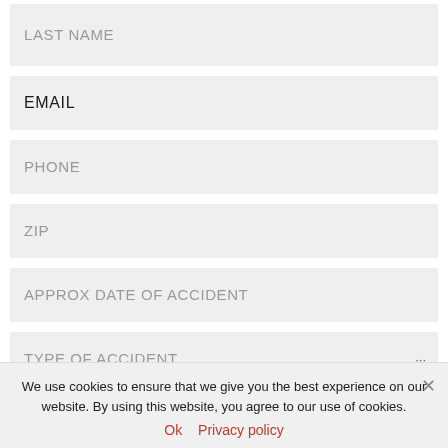LAST NAME
EMAIL
PHONE
ZIP
APPROX DATE OF ACCIDENT
TYPE OF ACCIDENT
We use cookies to ensure that we give you the best experience on our website. By using this website, you agree to our use of cookies.
Ok
Privacy policy